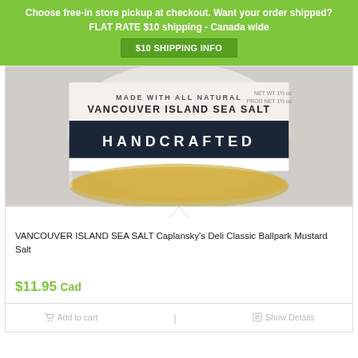Choose free-in store pickup at checkout. Want your order shipped?
FLAT RATE $10 shipping - Canada wide
$10 SHIPPING INFO
[Figure (photo): Close-up of a jar labeled 'Made with all natural Vancouver Island Sea Salt' with 'HANDCRAFTED' in white text on a dark band. The jar contains yellow/gold spice.]
VANCOUVER ISLAND SEA SALT Caplansky's Deli Classic Ballpark Mustard Salt
$11.95 Cad
Add to cart
Show Details